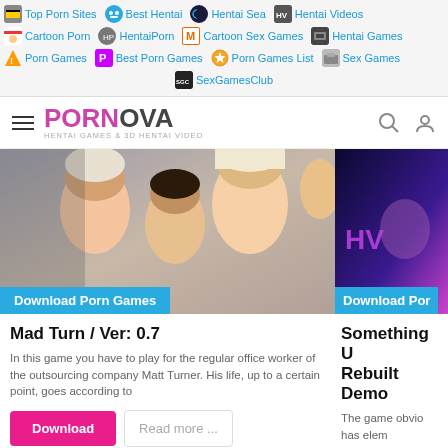Top Porn Sites | Best Hentai | Hentai Sea | Hentai Videos | Cartoon Porn | HentaiPorn | Cartoon Sex Games | Hentai Games | Porn Games | Best Porn Games | Porn Games List | Sex Games | SexGamesClub
[Figure (screenshot): Website navigation bar with PORNOVA logo, hamburger menu, search and user icons]
[Figure (screenshot): Game card image for Mad Turn with people visible, Download Porn Games badge]
Mad Turn / Ver: 0.7
In this game you have to play for the regular office worker of the outsourcing company Matt Turner. His life, up to a certain point, goes according to
[Figure (screenshot): Second game card partially visible with purple neon background, Download Porn badge]
Something U Rebuilt Demo
The game obvio has elem season
[Figure (screenshot): Notification badge with avatar, number 2 badge, and green online indicator]